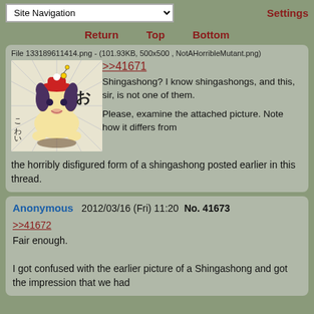Site Navigation  Settings
Return  Top  Bottom
File 133189611414.png - (101.93KB, 500x500 , NotAHorribleMutant.png)
[Figure (illustration): Anime-style drawing of a dog-cat creature wearing a red hat with Japanese text (お, こわい)]
>>41671
Shingashong? I know shingashongs, and this, sir, is not one of them.

Please, examine the attached picture. Note how it differs from the horribly disfigured form of a shingashong posted earlier in this thread.
Anonymous  2012/03/16 (Fri) 11:20  No. 41673
>>41672
Fair enough.

I got confused with the earlier picture of a Shingashong and got the impression that we had